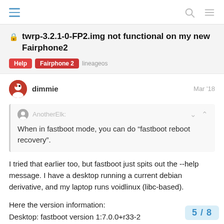twrp-3.2.1-0-FP2.img not functional on my new Fairphone2
Help   Fairphone 2   lineageos
dimmie   Mar '18
AnotherElk:
When in fastboot mode, you can do “fastboot reboot recovery”.
I tried that earlier too, but fastboot just spits out the --help message. I have a desktop running a current debian derivative, and my laptop runs voidlinux (libc-based).
Here the version information:
Desktop: fastboot version 1:7.0.0+r33-2
Laptop: fastboot version ecf5fd58a8f5-c